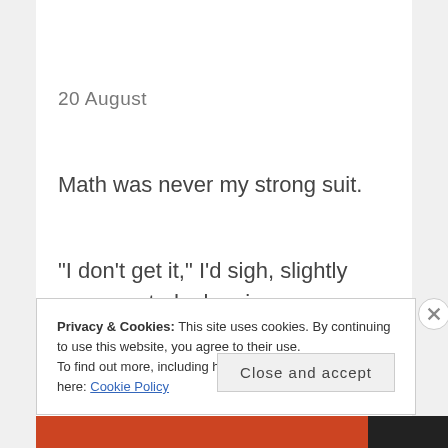20 August
Math was never my strong suit.
“I don’t get it,” I’d sigh, slightly exasperated, plopping my textbook
Privacy & Cookies: This site uses cookies. By continuing to use this website, you agree to their use.
To find out more, including how to control cookies, see here: Cookie Policy
Close and accept